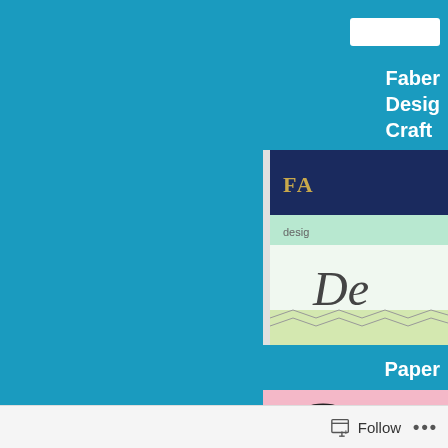[Figure (screenshot): Teal/blue background of a website or blog page, partially cropped on the left side]
Faber
Desig
Craft
[Figure (photo): Book cover partially visible - dark navy top with 'FA' text visible, light blue/green section with 'desig' text, and center showing italic script 'De' with decorative patterns]
Paper
[Figure (photo): Partially visible book or product cover with pink background and black illustrated design with circular swirl elements]
Follow •••